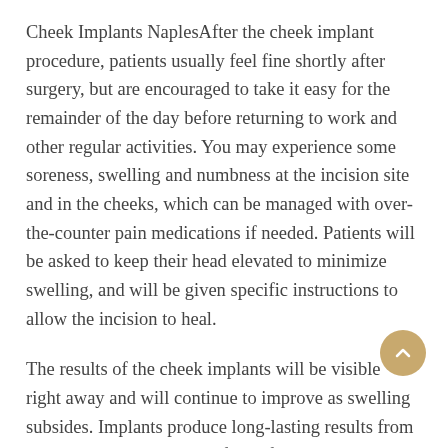Cheek Implants NaplesAfter the cheek implant procedure, patients usually feel fine shortly after surgery, but are encouraged to take it easy for the remainder of the day before returning to work and other regular activities. You may experience some soreness, swelling and numbness at the incision site and in the cheeks, which can be managed with over-the-counter pain medications if needed. Patients will be asked to keep their head elevated to minimize swelling, and will be given specific instructions to allow the incision to heal.
The results of the cheek implants will be visible right away and will continue to improve as swelling subsides. Implants produce long-lasting results from a single procedure, unlike facial fillers which require